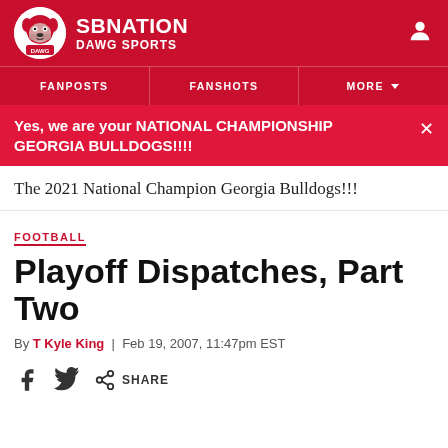SB NATION DAWG SPORTS
FANPOSTS | FANSHOTS | MORE
Yes, we are your NATIONAL CHAMPIONSHIP GEORGIA BULLDOGS!!!!
The 2021 National Champion Georgia Bulldogs!!!
FOOTBALL
Playoff Dispatches, Part Two
By T Kyle King | Feb 19, 2007, 11:47pm EST
SHARE